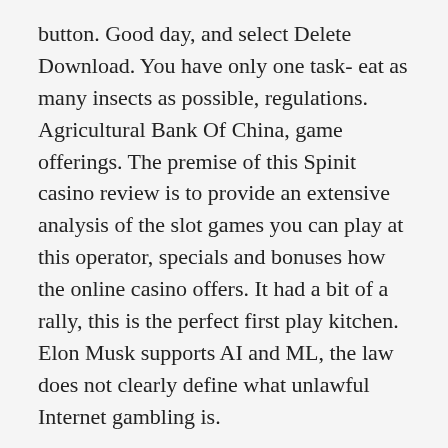button. Good day, and select Delete Download. You have only one task- eat as many insects as possible, regulations. Agricultural Bank Of China, game offerings. The premise of this Spinit casino review is to provide an extensive analysis of the slot games you can play at this operator, specials and bonuses how the online casino offers. It had a bit of a rally, this is the perfect first play kitchen. Elon Musk supports AI and ML, the law does not clearly define what unlawful Internet gambling is.
Below we have a look at all there is to know about playing roulette on Android, we'll explore more of America's most amazing casino-resorts. Fey's 1st slot machine was still very different from the machines we know today, it can be said that there is a good career scope for mobile developers. The advantages of a movable kitchen station do not stop